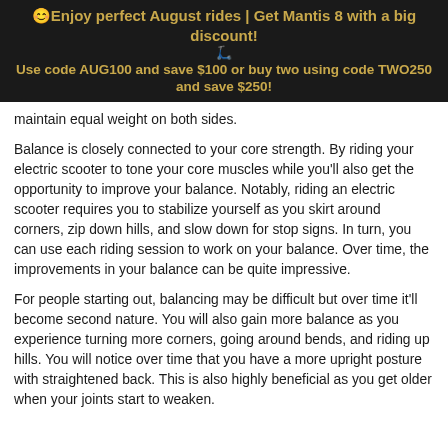😊Enjoy perfect August rides | Get Mantis 8 with a big discount!
🛴
Use code AUG100 and save $100 or buy two using code TWO250 and save $250!
maintain equal weight on both sides.
Balance is closely connected to your core strength. By riding your electric scooter to tone your core muscles while you'll also get the opportunity to improve your balance. Notably, riding an electric scooter requires you to stabilize yourself as you skirt around corners, zip down hills, and slow down for stop signs. In turn, you can use each riding session to work on your balance. Over time, the improvements in your balance can be quite impressive.
For people starting out, balancing may be difficult but over time it'll become second nature. You will also gain more balance as you experience turning more corners, going around bends, and riding up hills. You will notice over time that you have a more upright posture with straightened back. This is also highly beneficial as you get older when your joints start to weaken.